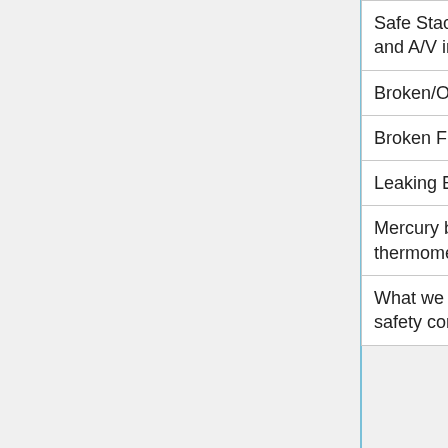| Safe Stacking Procedures in SDA and A/V incoming area |  |  |  |
| Broken/Open CRT Monitors |  |  |  |
| Broken Fluorescent Light Bulbs |  |  |  |
| Leaking Batteries |  |  |  |
| Mercury bearing thermostats or thermometers |  |  |  |
| What we don't accept due to safety concerns |  |  |  |